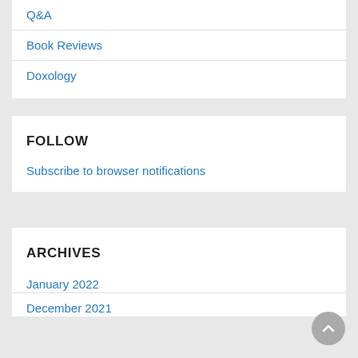Q&A
Book Reviews
Doxology
FOLLOW
Subscribe to browser notifications
ARCHIVES
January 2022
December 2021